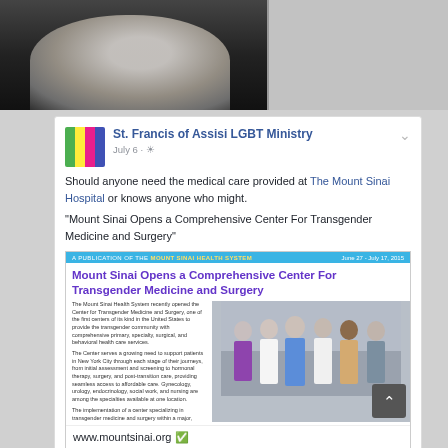[Figure (photo): Black and white photo of a person smiling, top portion visible, with a white/blank area to the right]
[Figure (screenshot): Facebook post by St. Francis of Assisi LGBT Ministry dated July 6, sharing a Mount Sinai Health System article about opening a Comprehensive Center For Transgender Medicine and Surgery, with link to www.mountsinai.org]
Should anyone need the medical care provided at The Mount Sinai Hospital or knows anyone who might.
"Mount Sinai Opens a Comprehensive Center For Transgender Medicine and Surgery"
[Figure (screenshot): Mount Sinai Health System publication header showing article: Mount Sinai Opens a Comprehensive Center For Transgender Medicine and Surgery, dated June 27 - July 17, 2015, with article text and staff photo]
www.mountsinai.org
MOUNTSINAI.ORG